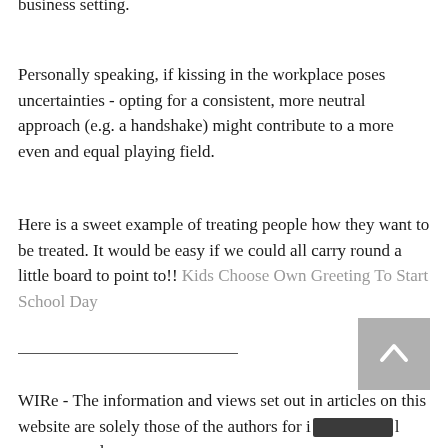business setting.
Personally speaking, if kissing in the workplace poses uncertainties - opting for a consistent, more neutral approach (e.g. a handshake) might contribute to a more even and equal playing field.
Here is a sweet example of treating people how they want to be treated. It would be easy if we could all carry round a little board to point to!! Kids Choose Own Greeting To Start School Day
WIRe - The information and views set out in articles on this website are solely those of the authors for informational purposes only